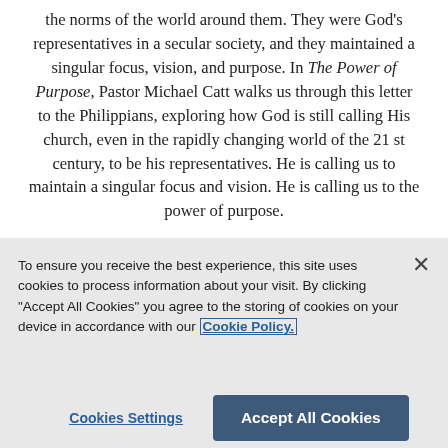the norms of the world around them. They were God's representatives in a secular society, and they maintained a singular focus, vision, and purpose. In The Power of Purpose, Pastor Michael Catt walks us through this letter to the Philippians, exploring how God is still calling His church, even in the rapidly changing world of the 21 st century, to be his representatives. He is calling us to maintain a singular focus and vision. He is calling us to the power of purpose.
To ensure you receive the best experience, this site uses cookies to process information about your visit. By clicking "Accept All Cookies" you agree to the storing of cookies on your device in accordance with our Cookie Policy.